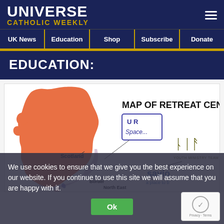UNIVERSE CATHOLIC WEEKLY
UK News | Education | Shop | Subscribe | Donate
EDUCATION:
[Figure (map): Map of Retreat Centres showing Scotland and northern England with logos: UR Space..., Youth Ministry Team, Savio a place to be. Labels include Scotland, Border, North East.]
We use cookies to ensure that we give you the best experience on our website. If you continue to use this site we will assume that you are happy with it.